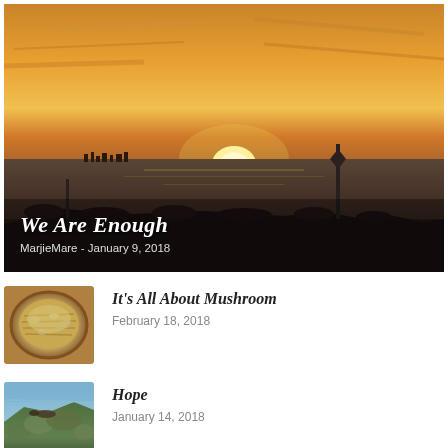[Figure (photo): Sunset over water with silhouette of rocky jetty and a channel marker post against an orange and golden sky. City skyline faintly visible on the horizon.]
We Are Enough
MarjieMare  -  January 9, 2018
[Figure (photo): Bowl of mushroom dish, viewed from above, showing a creamy mushroom casserole or bake with breadcrumb topping.]
It's All About Mushroom
February 18, 2018
[Figure (photo): Person lying on a rocky cliff edge covered in green moss or lichen, with dramatic coastal scenery.]
Hope
January 14, 2018